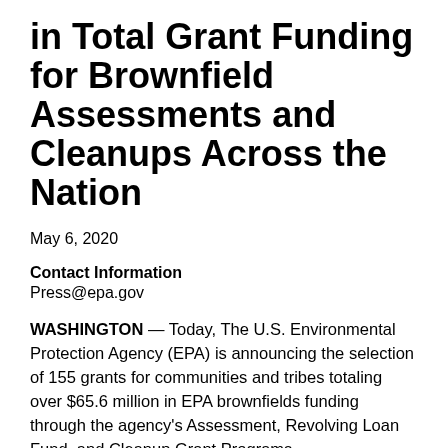in Total Grant Funding for Brownfield Assessments and Cleanups Across the Nation
May 6, 2020
Contact Information
Press@epa.gov
WASHINGTON — Today, The U.S. Environmental Protection Agency (EPA) is announcing the selection of 155 grants for communities and tribes totaling over $65.6 million in EPA brownfields funding through the agency's Assessment, Revolving Loan Fund, and Cleanup Grant Programs.